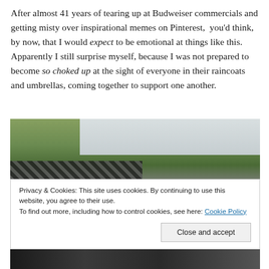After almost 41 years of tearing up at Budweiser commercials and getting misty over inspirational memes on Pinterest, you'd think, by now, that I would expect to be emotional at things like this. Apparently I still surprise myself, because I was not prepared to become so choked up at the sight of everyone in their raincoats and umbrellas, coming together to support one another.
[Figure (photo): Outdoor photo showing trees and a striped roof/awning against an overcast sky]
Privacy & Cookies: This site uses cookies. By continuing to use this website, you agree to their use. To find out more, including how to control cookies, see here: Cookie Policy
[Figure (photo): Photo of people with umbrellas gathered outdoors]